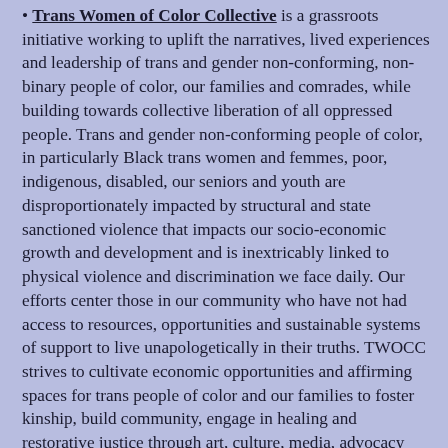• Trans Women of Color Collective is a grassroots initiative working to uplift the narratives, lived experiences and leadership of trans and gender non-conforming, non-binary people of color, our families and comrades, while building towards collective liberation of all oppressed people. Trans and gender non-conforming people of color, in particularly Black trans women and femmes, poor, indigenous, disabled, our seniors and youth are disproportionately impacted by structural and state sanctioned violence that impacts our socio-economic growth and development and is inextricably linked to physical violence and discrimination we face daily. Our efforts center those in our community who have not had access to resources, opportunities and sustainable systems of support to live unapologetically in their truths. TWOCC strives to cultivate economic opportunities and affirming spaces for trans people of color and our families to foster kinship, build community, engage in healing and restorative justice through art, culture, media, advocacy and activism. We guide our work with the values of self-identification, determination and definition, always in love, respect and honor, free from judgment, and in spirituality and truth. There is a critical need for trans people of color led initiatives that cultivate affirming spaces for our communities to engage in healing and restorative justice. We are creating the change we seek. Our work centers three fundamental areas; Health and Wellness, Art and Culture, Economic and Social Justice